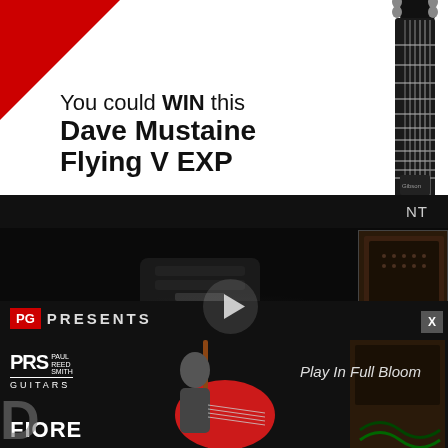[Figure (photo): Advertisement banner with white background, red triangle in top-left corner, black guitar neck visible on right side, text promoting a Dave Mustaine Flying V EXP giveaway.]
You could WIN this Dave Mustaine Flying V EXP
NT
[Figure (screenshot): Video player with dark/black background showing a guitar pedal or equipment, with a white play button triangle in the center.]
LATEST
[Figure (logo): PG Presents banner with red PG logo and white PRESENTS text on dark background, with pink spherical decorations and a guitarist playing red guitar visible below.]
PG PRESENTS
Play In Full Bloom
FIORE